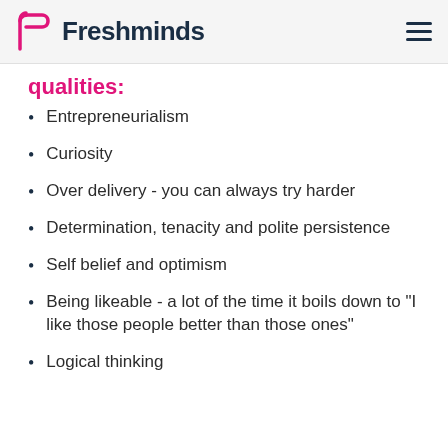Freshminds
qualities:
Entrepreneurialism
Curiosity
Over delivery - you can always try harder
Determination, tenacity and polite persistence
Self belief and optimism
Being likeable - a lot of the time it boils down to "I like those people better than those ones"
Logical thinking